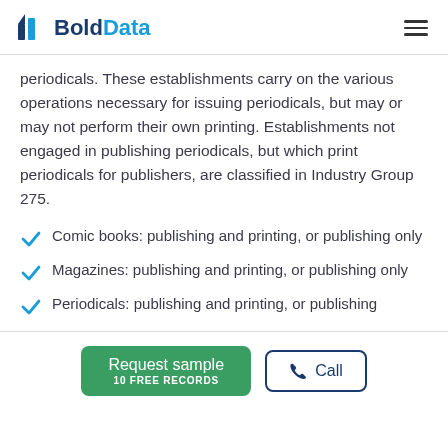BoldData
periodicals. These establishments carry on the various operations necessary for issuing periodicals, but may or may not perform their own printing. Establishments not engaged in publishing periodicals, but which print periodicals for publishers, are classified in Industry Group 275.
Comic books: publishing and printing, or publishing only
Magazines: publishing and printing, or publishing only
Periodicals: publishing and printing, or publishing
Request sample 10 FREE RECORDS | Call